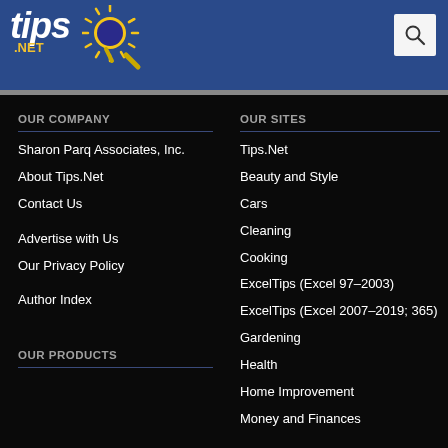[Figure (logo): Tips.Net logo with sun graphic on blue header bar]
OUR COMPANY
Sharon Parq Associates, Inc.
About Tips.Net
Contact Us
Advertise with Us
Our Privacy Policy
Author Index
OUR PRODUCTS
OUR SITES
Tips.Net
Beauty and Style
Cars
Cleaning
Cooking
ExcelTips (Excel 97–2003)
ExcelTips (Excel 2007–2019; 365)
Gardening
Health
Home Improvement
Money and Finances